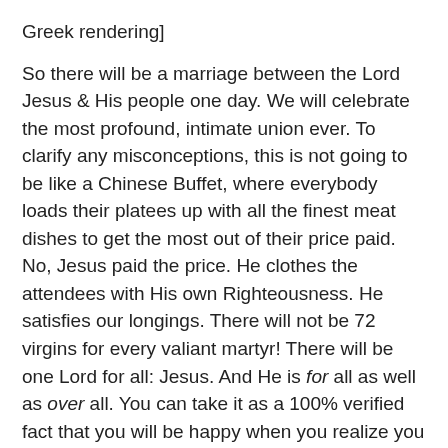Greek rendering]

So there will be a marriage between the Lord Jesus & His people one day. We will celebrate the most profound, intimate union ever. To clarify any misconceptions, this is not going to be like a Chinese Buffet, where everybody loads their platees up with all the finest meat dishes to get the most out of their price paid. No, Jesus paid the price. He clothes the attendees with His own Righteousness. He satisfies our longings. There will not be 72 virgins for every valiant martyr! There will be one Lord for all: Jesus. And He is for all as well as over all. You can take it as a 100% verified fact that you will be happy when you realize you have been invited to celebrate with Jesus. Imagine: seeing God, touching God, tasting His goodness, smelling the aroma of His favor!  God is good all the time, and there will be times when you will be in the presence of God b...